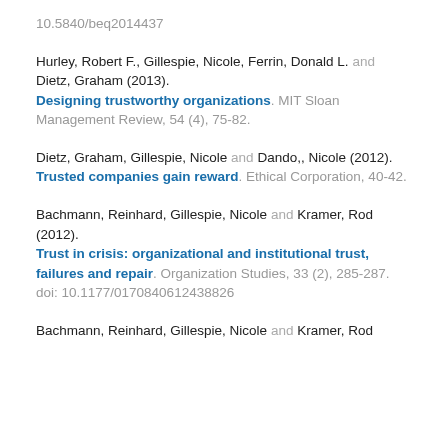10.5840/beq2014437
Hurley, Robert F., Gillespie, Nicole, Ferrin, Donald L. and Dietz, Graham (2013). Designing trustworthy organizations. MIT Sloan Management Review, 54 (4), 75-82.
Dietz, Graham, Gillespie, Nicole and Dando,, Nicole (2012). Trusted companies gain reward. Ethical Corporation, 40-42.
Bachmann, Reinhard, Gillespie, Nicole and Kramer, Rod (2012). Trust in crisis: organizational and institutional trust, failures and repair. Organization Studies, 33 (2), 285-287. doi: 10.1177/0170840612438826
Bachmann, Reinhard, Gillespie, Nicole and Kramer, Rod